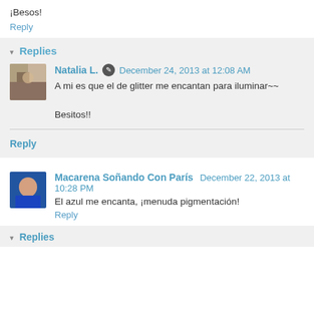¡Besos!
Reply
▾ Replies
Natalia L. ✎ December 24, 2013 at 12:08 AM
A mi es que el de glitter me encantan para iluminar~~

Besitos!!
Reply
Macarena Soñando Con París December 22, 2013 at 10:28 PM
El azul me encanta, ¡menuda pigmentación!
Reply
▾ Replies